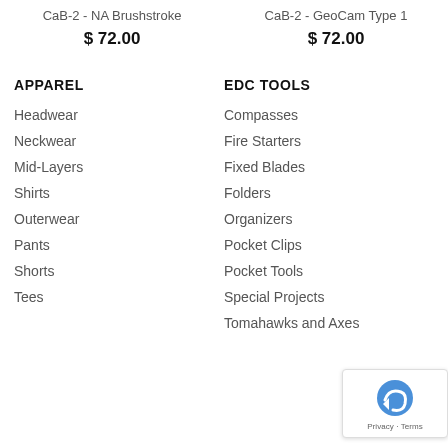CaB-2 - NA Brushstroke
$ 72.00
CaB-2 - GeoCam Type 1
$ 72.00
APPAREL
Headwear
Neckwear
Mid-Layers
Shirts
Outerwear
Pants
Shorts
Tees
EDC TOOLS
Compasses
Fire Starters
Fixed Blades
Folders
Organizers
Pocket Clips
Pocket Tools
Special Projects
Tomahawks and Axes